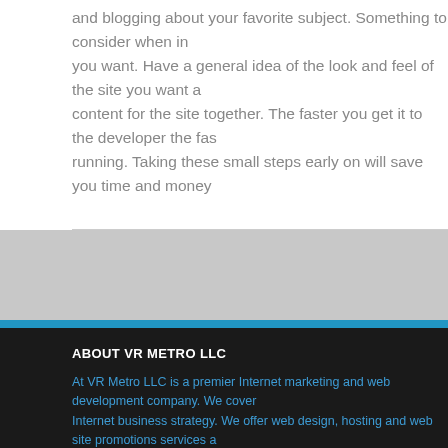and blogging about your favorite subject. Something to consider when in you want. Have a general idea of the look and feel of the site you want a content for the site together. The faster you get it to the developer the fas running. Taking these small steps early on will save you time and money
ABOUT VR METRO LLC
At VR Metro LLC is a premier Internet marketing and web development company. We cover Internet business strategy. We offer web design, hosting and web site promotions services a require.